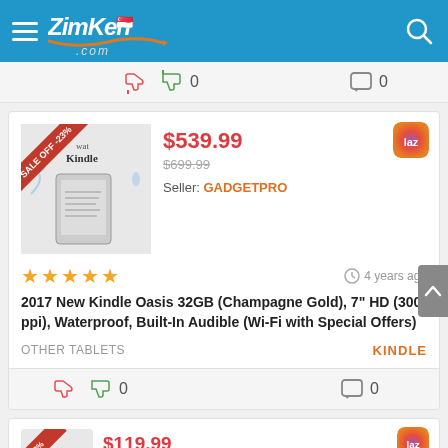ZimKen.com — Singapore shopping site header with hamburger menu and search icon
[Figure (screenshot): Vote bar with thumbs down (red), thumbs up (green), count 0, and comment icon with count 0]
[Figure (screenshot): Product card for 2017 New Kindle Oasis 32GB with SALE OFF -23% ribbon, price $539.99 (orig $699.99), Seller: GADGETPRO, 5 stars, 4 years ago, categories OTHER TABLETS / KINDLE]
$539.99
$699.99
Seller: GADGETPRO
4 years ago
2017 New Kindle Oasis 32GB (Champagne Gold), 7" HD (300 ppi), Waterproof, Built-In Audible (Wi-Fi with Special Offers)
OTHER TABLETS
KINDLE
[Figure (screenshot): Partial product card at bottom showing -33% sale ribbon and partial price $119.99]